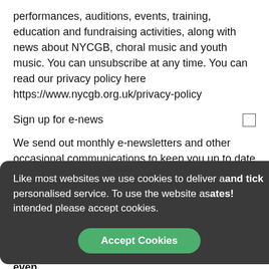performances, auditions, events, training, education and fundraising activities, along with news about NYCGB, choral music and youth music. You can unsubscribe at any time. You can read our privacy policy here https://www.nycgb.org.uk/privacy-policy
Sign up for e-news
We send out monthly e-newsletters and other occasional communications to keep you up to date with all our events and activities.
Like most websites we use cookies to deliver a and tick personalised service. To use the website as ates! intended please accept cookies.
Accept Cookies
If you're part of our alumni, we want to hear from you! Please fill out the form at the end so we can send even more relevant news your way.